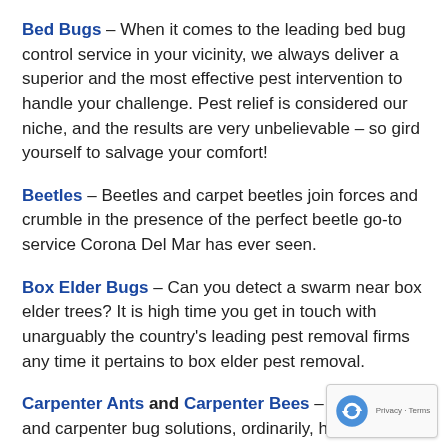Bed Bugs – When it comes to the leading bed bug control service in your vicinity, we always deliver a superior and the most effective pest intervention to handle your challenge. Pest relief is considered our niche, and the results are very unbelievable – so gird yourself to salvage your comfort!
Beetles – Beetles and carpet beetles join forces and crumble in the presence of the perfect beetle go-to service Corona Del Mar has ever seen.
Box Elder Bugs – Can you detect a swarm near box elder trees? It is high time you get in touch with unarguably the country's leading pest removal firms any time it pertains to box elder pest removal.
Carpenter Ants and Carpenter Bees – Carpenter and carpenter bug solutions, ordinarily, happen to be a